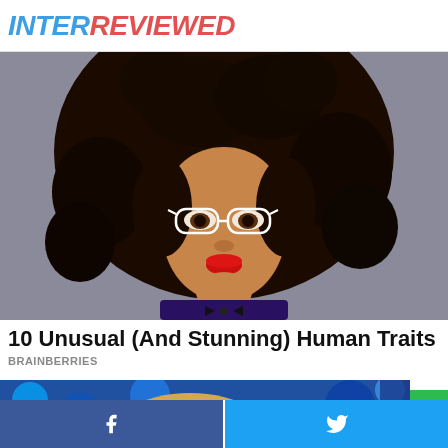INTERREVIEWED
[Figure (photo): A young woman with a large afro hairstyle, wearing white aviator glasses and red lipstick, dressed in a dark outfit with a bow tie, against a gray background.]
10 Unusual (And Stunning) Human Traits
BRAINBERRIES
[Figure (photo): Partial view of a person with blonde hair in front of a colorful blurred background.]
[Figure (other): Green scroll-to-top button with upward arrow icon.]
[Figure (other): Bottom share bar with Facebook icon on blue background (left half) and Twitter bird icon on light blue background (right half).]